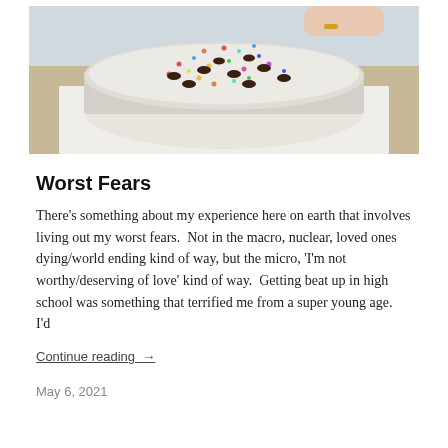[Figure (photo): A round cake with white frosting, colorful sprinkles, and chocolate chips on top, being held in a white box on a wooden table.]
Worst Fears
There's something about my experience here on earth that involves living out my worst fears.  Not in the macro, nuclear, loved ones dying/world ending kind of way, but the micro, 'I'm not worthy/deserving of love' kind of way.  Getting beat up in high school was something that terrified me from a super young age.  I'd
Continue reading  →
May 6, 2021